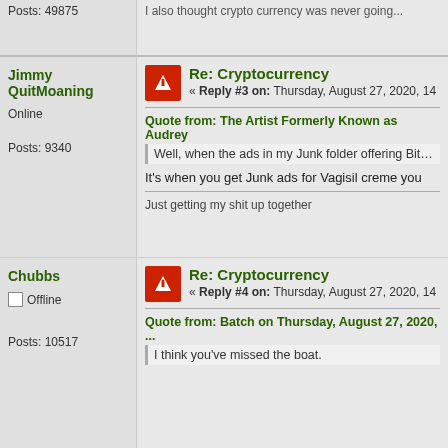Posts: 49875
I also thought crypto currency was never going...
Jimmy QuitMoaning
Online
Posts: 9340
Re: Cryptocurrency
« Reply #3 on: Thursday, August 27, 2020, 14...
Quote from: The Artist Formerly Known as Audrey
Well, when the ads in my Junk folder offering Bitcoin etc out...
It's when you get Junk ads for Vagisil creme you...
Just getting my shit up together
Chubbs
Offline
Posts: 10517
Re: Cryptocurrency
« Reply #4 on: Thursday, August 27, 2020, 14...
Quote from: Batch on Thursday, August 27, 2020, ...
I think you've missed the boat.